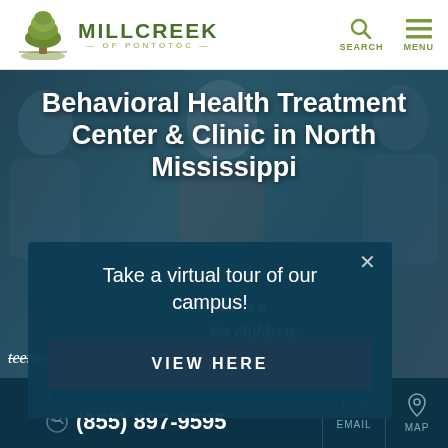[Figure (logo): Millcreek of Pontotoc logo with tree illustration and text]
MILLCREEK OF PONTOTOC — SEARCH  MENU
[Figure (photo): Background photo of teens/young adults smiling, teal/blue tinted overlay]
Behavioral Health Treatment Center & Clinic in North Mississippi
Take a virtual tour of our campus!
VIEW HERE
nter is a for children, teens, and MilliCreek North Mississippi
CALL 24/7  (855) 897-9595  EMAIL  MAP